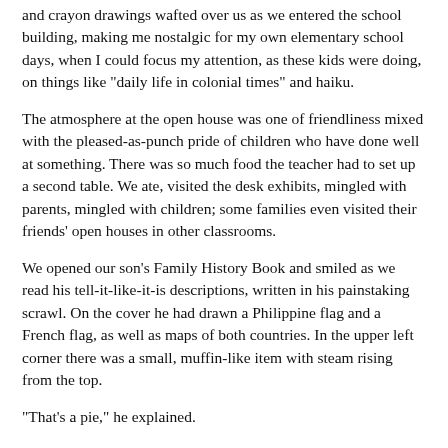and crayon drawings wafted over us as we entered the school building, making me nostalgic for my own elementary school days, when I could focus my attention, as these kids were doing, on things like "daily life in colonial times" and haiku.
The atmosphere at the open house was one of friendliness mixed with the pleased-as-punch pride of children who have done well at something. There was so much food the teacher had to set up a second table. We ate, visited the desk exhibits, mingled with parents, mingled with children; some families even visited their friends' open houses in other classrooms.
We opened our son's Family History Book and smiled as we read his tell-it-like-it-is descriptions, written in his painstaking scrawl. On the cover he had drawn a Philippine flag and a French flag, as well as maps of both countries. In the upper left corner there was a small, muffin-like item with steam rising from the top.
"That's a pie," he explained.
Several pages into the booklet it appeared again: a little pie in the margins.